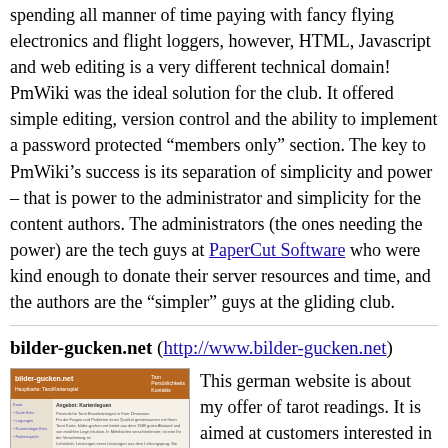spending all manner of time paying with fancy flying electronics and flight loggers, however, HTML, Javascript and web editing is a very different technical domain! PmWiki was the ideal solution for the club. It offered simple editing, version control and the ability to implement a password protected “members only” section. The key to PmWiki’s success is its separation of simplicity and power – that is power to the administrator and simplicity for the content authors. The administrators (the ones needing the power) are the tech guys at PaperCut Software who were kind enough to donate their server resources and time, and the authors are the “simpler” guys at the gliding club.
bilder-gucken.net (http://www.bilder-gucken.net)
[Figure (screenshot): Screenshot of bilder-gucken.net website showing an orange/brown header, sidebar navigation, and content area with tarot reading information in German.]
This german website is about my offer of tarot readings. It is aimed at customers interested in